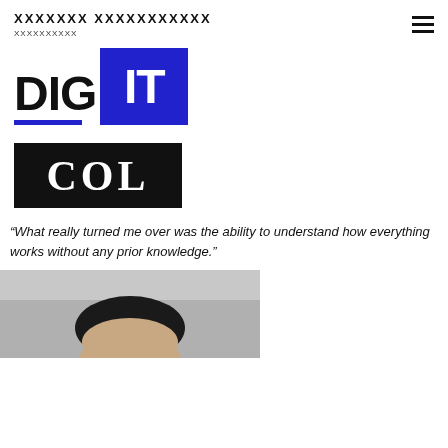XXXXXXX XXXXXXXXXXX
XXXXXXXXXX
[Figure (logo): DIG IT logo — 'DIG' in black bold text with blue underline, 'IT' in white bold text on blue rectangle background]
[Figure (logo): COL logo — white serif bold text 'COL' on black rectangle background]
“What really turned me over was the ability to understand how everything works without any prior knowledge.”
[Figure (photo): Photo of a person, partially visible, showing the top of their head and face]